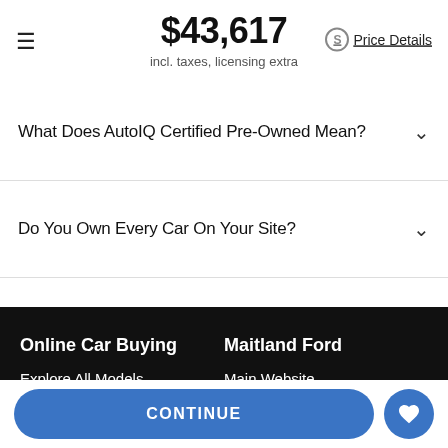$43,617 incl. taxes, licensing extra Price Details
What Does AutoIQ Certified Pre-Owned Mean?
Do You Own Every Car On Your Site?
How Do I Service My Car After I Purchase It?
Online Car Buying
Explore All Models
How It Works
Maitland Ford
Main Website
Financing
Service
Parts
CONTINUE